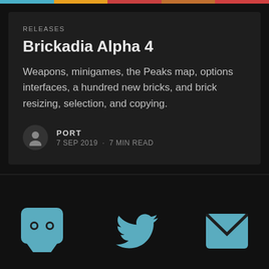RELEASES
Brickadia Alpha 4
Weapons, minigames, the Peaks map, options interfaces, a hundred new bricks, and brick resizing, selection, and copying.
PORT · 7 SEP 2019 · 7 MIN READ
[Figure (infographic): Discord, Twitter, and Email social media icons in teal/blue color]
© Brickadia 2022